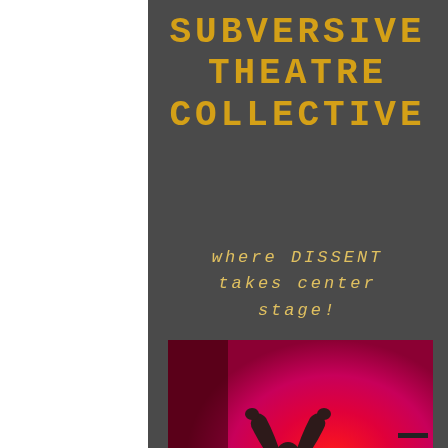SUBVERSIVE THEATRE COLLECTIVE
where DISSENT takes center stage!
[Figure (photo): Silhouette of a performer with arms raised above head against a vivid red/pink backlit stage background, dramatic theatrical lighting]